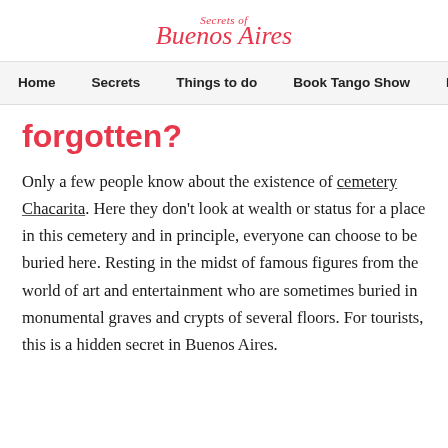Secrets of Buenos Aires
Home | Secrets | Things to do | Book Tango Show | B
forgotten?
Only a few people know about the existence of cemetery Chacarita. Here they don't look at wealth or status for a place in this cemetery and in principle, everyone can choose to be buried here. Resting in the midst of famous figures from the world of art and entertainment who are sometimes buried in monumental graves and crypts of several floors. For tourists, this is a hidden secret in Buenos Aires.